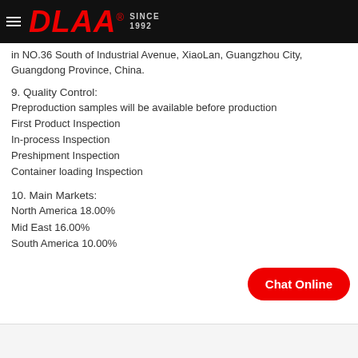DLAA® SINCE 1992
in NO.36 South of Industrial Avenue, XiaoLan, Guangzhou City, Guangdong Province, China.
9. Quality Control:
Preproduction samples will be available before production
First Product Inspection
In-process Inspection
Preshipment Inspection
Container loading Inspection
10. Main Markets:
North America 18.00%
Mid East 16.00%
South America 10.00%